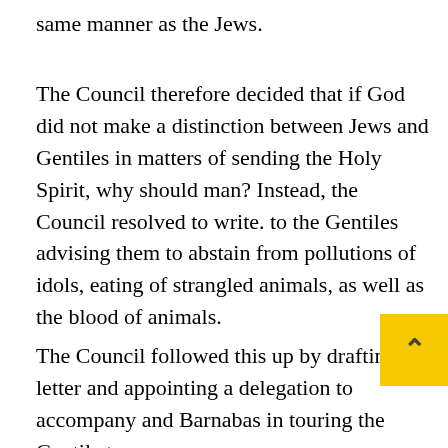same manner as the Jews.
The Council therefore decided that if God did not make a distinction between Jews and Gentiles in matters of sending the Holy Spirit, why should man? Instead, the Council resolved to write. to the Gentiles advising them to abstain from pollutions of idols, eating of strangled animals, as well as the blood of animals.
The Council followed this up by drafting a letter and appointing a delegation to accompany and Barnabas in touring the Gentile towns